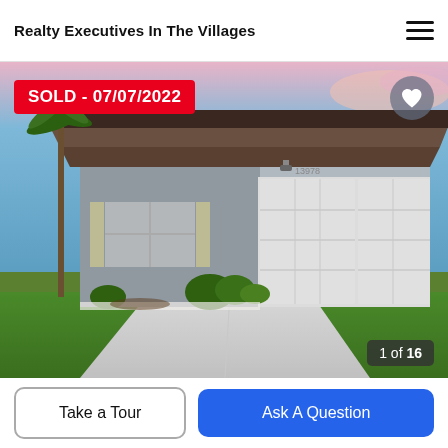Realty Executives In The Villages
[Figure (photo): Exterior photo of a single-story residential home with gray stucco facade, double white garage doors, palm tree in front yard, green lawn, concrete driveway, and a colorful sky at dusk. A 'SOLD - 07/07/2022' badge appears in the top-left corner. A heart/favorite button appears in the top-right. Image counter '1 of 16' appears in the bottom-right.]
SOLD - 07/07/2022
1 of 16
Take a Tour
Ask A Question